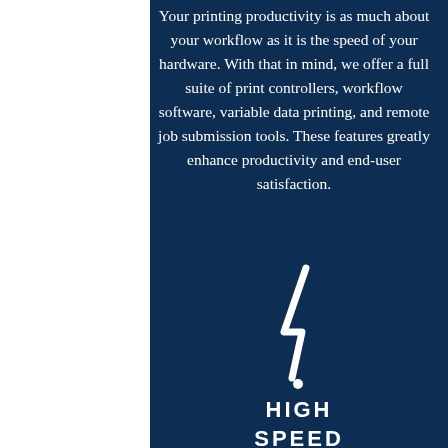Your printing productivity is as much about your workflow as it is the speed of your hardware. With that in mind, we offer a full suite of print controllers, workflow software, variable data printing, and remote job submission tools. These features greatly enhance productivity and end-user satisfaction.
[Figure (logo): Lightning bolt slash and dot icon — logo mark for High Speed Prints]
HIGH SPEED PRINTS